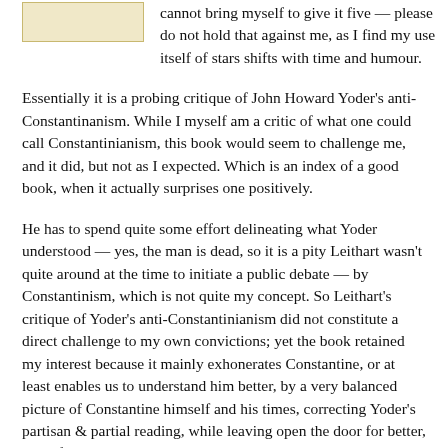[Figure (other): Small book cover image placeholder (tan/yellow colored rectangle)]
cannot bring myself to give it five — please do not hold that against me, as I find my use itself of stars shifts with time and humour.
Essentially it is a probing critique of John Howard Yoder's anti-Constantinanism. While I myself am a critic of what one could call Constantinianism, this book would seem to challenge me, and it did, but not as I expected. Which is an index of a good book, when it actually surprises one positively.
He has to spend quite some effort delineating what Yoder understood — yes, the man is dead, so it is a pity Leithart wasn't quite around at the time to initiate a public debate — by Constantinism, which is not quite my concept. So Leithart's critique of Yoder's anti-Constantinianism did not constitute a direct challenge to my own convictions; yet the book retained my interest because it mainly exhonerates Constantine, or at least enables us to understand him better, by a very balanced picture of Constantine himself and his times, correcting Yoder's partisan & partial reading, while leaving open the door for better, more focused criticism.